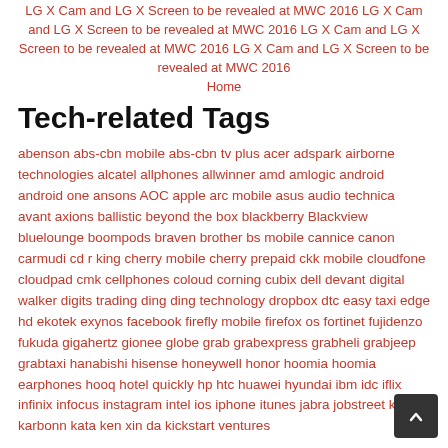LG X Cam and LG X Screen to be revealed at MWC 2016 LG X Cam and LG X Screen to be revealed at MWC 2016 LG X Cam and LG X Screen to be revealed at MWC 2016 LG X Cam and LG X Screen to be revealed at MWC 2016
Home
Tech-related Tags
abenson abs-cbn mobile abs-cbn tv plus acer adspark airborne technologies alcatel allphones allwinner amd amlogic android android one ansons AOC apple arc mobile asus audio technica avant axions ballistic beyond the box blackberry Blackview bluelounge boompods braven brother bs mobile cannice canon carmudi cd r king cherry mobile cherry prepaid ckk mobile cloudfone cloudpad cmk cellphones coloud corning cubix dell devant digital walker digits trading ding ding technology dropbox dtc easy taxi edge hd ekotek exynos facebook firefly mobile firefox os fortinet fujidenzo fukuda gigahertz gionee globe grab grabexpress grabheli grabjeep grabtaxi hanabishi hisense honeywell honor hoomia hoomia earphones hooq hotel quickly hp htc huawei hyundai ibm idc iflix infinix infocus instagram intel ios iphone itunes jabra jobstreet kalibrr karbonn kata ken xin da kickstart ventures